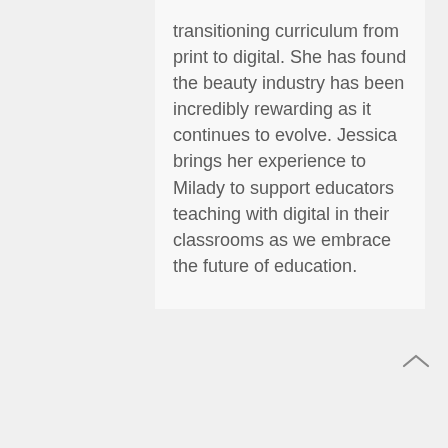transitioning curriculum from print to digital. She has found the beauty industry has been incredibly rewarding as it continues to evolve. Jessica brings her experience to Milady to support educators teaching with digital in their classrooms as we embrace the future of education.